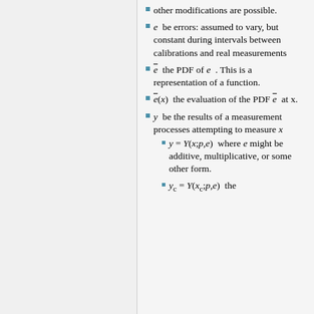other modifications are possible.
e  be errors: assumed to vary, but constant during intervals between calibrations and real measurements
ē  the PDF of e . This is a representation of a function.
ē(x)  the evaluation of the PDF ē  at x.
y  be the results of a measurement processes attempting to measure x
y = Y(x;p,e)  where e might be additive, multiplicative, or some other form.
y_c = Y(x_c;p,e)  the